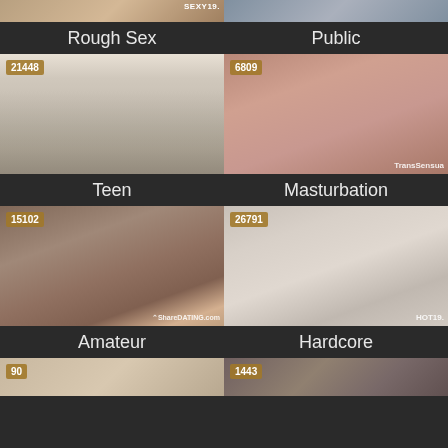[Figure (screenshot): Top partial row showing two cropped video thumbnails with SEXY19 watermark visible on left]
Rough Sex
Public
[Figure (screenshot): Teen category thumbnail showing group scene with count badge 21448]
[Figure (screenshot): Masturbation category thumbnail with count badge 6809 and TransSensua watermark]
Teen
Masturbation
[Figure (screenshot): Amateur category thumbnail with count badge 15102 and ShareDATING.com watermark]
[Figure (screenshot): Hardcore category thumbnail with count badge 26791 and HOT19 watermark]
Amateur
Hardcore
[Figure (screenshot): Bottom partial row showing two cropped video thumbnails with count badges 90 and 1443]